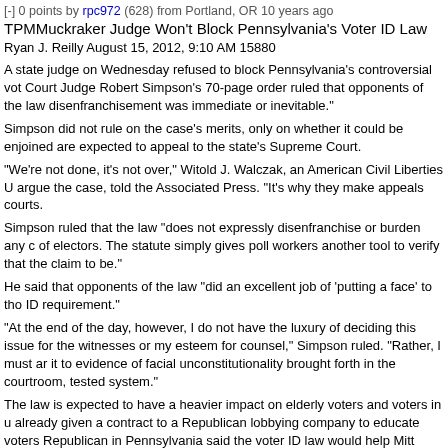[-] 0 points by rpc972 (628) from Portland, OR 10 years ago
TPMMuckraker Judge Won't Block Pennsylvania's Voter ID Law
Ryan J. Reilly August 15, 2012, 9:10 AM 15880
A state judge on Wednesday refused to block Pennsylvania's controversial vot... Court Judge Robert Simpson's 70-page order ruled that opponents of the law t... disenfranchisement was immediate or inevitable."
Simpson did not rule on the case's merits, only on whether it could be enjoined... are expected to appeal to the state's Supreme Court.
"We're not done, it's not over," Witold J. Walczak, an American Civil Liberties U... argue the case, told the Associated Press. "It's why they make appeals courts.
Simpson ruled that the law "does not expressly disenfranchise or burden any c... of electors. The statute simply gives poll workers another tool to verify that the... claim to be."
He said that opponents of the law "did an excellent job of 'putting a face' to tho... ID requirement."
"At the end of the day, however, I do not have the luxury of deciding this issue... for the witnesses or my esteem for counsel," Simpson ruled. "Rather, I must ar... it to evidence of facial unconstitutionality brought forth in the courtroom, tested... system."
The law is expected to have a heavier impact on elderly voters and voters in u... already given a contract to a Republican lobbying company to educate voters... Republican in Pennsylvania said the voter ID law would help Mitt Romney win
Opponents of the law were confident it would be overturned when the trial wra... The state had admitted it had no evidence of in-person voter fraud taking place... expect in-person fraud to take place if the law wasn't enacted.